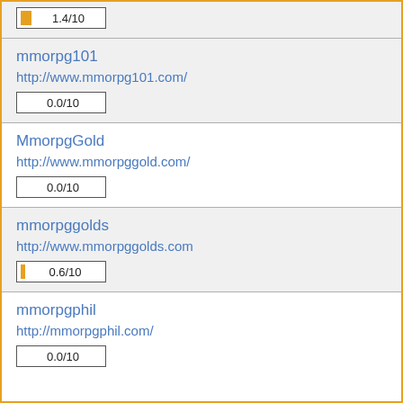1.4/10
mmorpg101
http://www.mmorpg101.com/
0.0/10
MmorpgGold
http://www.mmorpggold.com/
0.0/10
mmorpggolds
http://www.mmorpggolds.com
0.6/10
mmorpgphil
http://mmorpgphil.com/
0.0/10